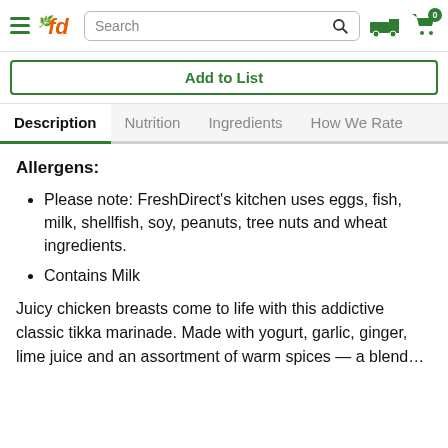FreshDirect navigation header with hamburger menu, logo (fd), search bar, delivery truck icon, and cart icon with badge 0
Add to List
Description | Nutrition | Ingredients | How We Rate
Allergens:
Please note: FreshDirect's kitchen uses eggs, fish, milk, shellfish, soy, peanuts, tree nuts and wheat ingredients.
Contains Milk
Juicy chicken breasts come to life with this addictive classic tikka marinade. Made with yogurt, garlic, ginger, lime juice and an assortment of warm spices — a blend…